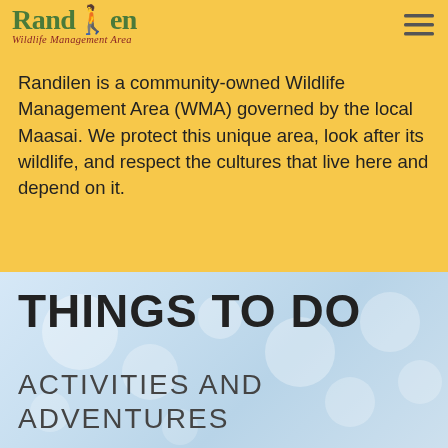Randilen Wildlife Management Area
Randilen is a community-owned Wildlife Management Area (WMA) governed by the local Maasai. We protect this unique area, look after its wildlife, and respect the cultures that live here and depend on it.
THINGS TO DO
ACTIVITIES AND ADVENTURES